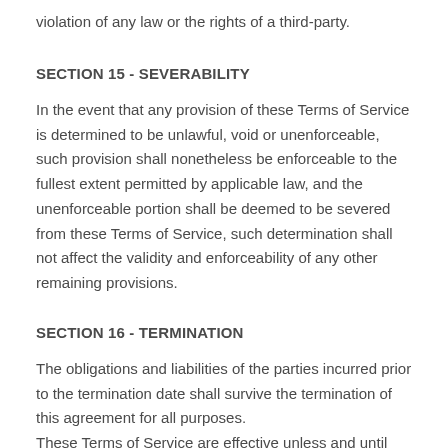violation of any law or the rights of a third-party.
SECTION 15 - SEVERABILITY
In the event that any provision of these Terms of Service is determined to be unlawful, void or unenforceable, such provision shall nonetheless be enforceable to the fullest extent permitted by applicable law, and the unenforceable portion shall be deemed to be severed from these Terms of Service, such determination shall not affect the validity and enforceability of any other remaining provisions.
SECTION 16 - TERMINATION
The obligations and liabilities of the parties incurred prior to the termination date shall survive the termination of this agreement for all purposes.
These Terms of Service are effective unless and until terminated by